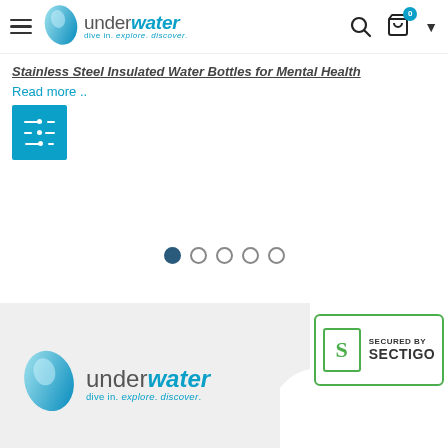[Figure (screenshot): Underwater website navigation bar with hamburger menu, underwater logo (dive in. explore. discover.), search icon, cart icon with badge showing 0, and dropdown arrow]
Stainless Steel Insulated Water Bottles for Mental Health
Read more ..
[Figure (other): Teal/cyan filter/sort button with horizontal slider lines icon]
[Figure (other): Carousel pagination dots - 5 dots, first one filled dark blue, rest are empty circles]
[Figure (logo): Underwater logo - dive in. explore. discover. on grey background]
[Figure (other): Secured by Sectigo green badge/seal]